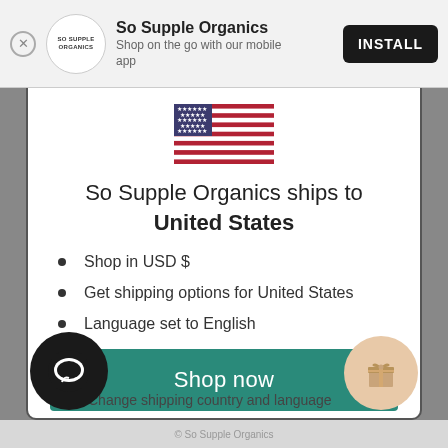So Supple Organics — Shop on the go with our mobile app — INSTALL
[Figure (illustration): US flag emoji/illustration showing stars and stripes]
So Supple Organics ships to United States
Shop in USD $
Get shipping options for United States
Language set to English
Shop now
Change shipping country and language